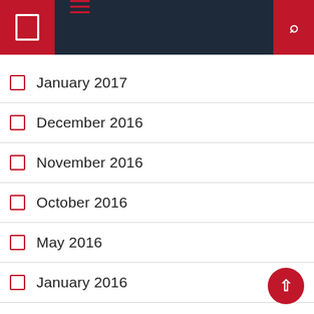Navigation header with menu and search icons
January 2017
December 2016
November 2016
October 2016
May 2016
January 2016
December 2015
November 2014
November 2013